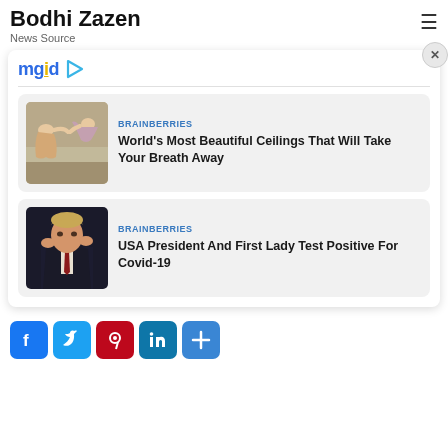Bodhi Zazen
News Source
[Figure (screenshot): MGID advertising widget with close button, containing two news cards. First card: Sistine Chapel ceiling image with label BRAINBERRIES and headline 'World's Most Beautiful Ceilings That Will Take Your Breath Away'. Second card: Trump photo with label BRAINBERRIES and headline 'USA President And First Lady Test Positive For Covid-19'.]
[Figure (infographic): Social sharing buttons row: Facebook (blue), Twitter (blue), Pinterest (red), LinkedIn (teal), Share (blue)]